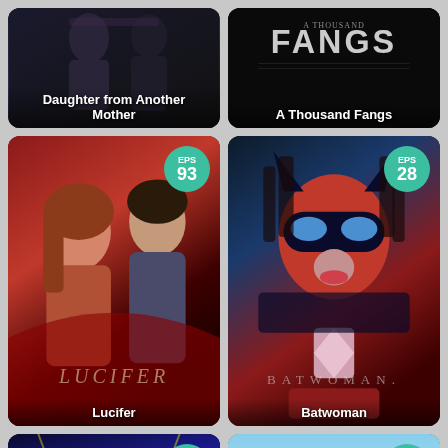[Figure (photo): TV show card: Daughter from Another Mother]
[Figure (photo): TV show card: A Thousand Fangs]
[Figure (photo): TV show card: Lucifer, EPS 93]
[Figure (photo): TV show card: Batwoman, EPS 28]
[Figure (photo): TV show card: Superman & Lois or similar, EPS 16]
[Figure (photo): TV show card: Show Must Go, EPS 12]